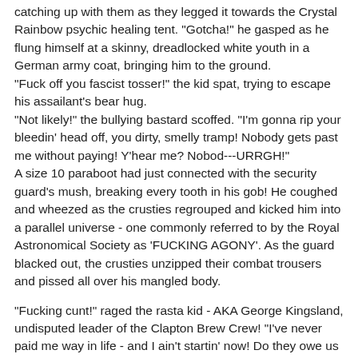catching up with them as they legged it towards the Crystal Rainbow psychic healing tent. "Gotcha!" he gasped as he flung himself at a skinny, dreadlocked white youth in a German army coat, bringing him to the ground. "Fuck off you fascist tosser!" the kid spat, trying to escape his assailant's bear hug. "Not likely!" the bullying bastard scoffed. "I'm gonna rip your bleedin' head off, you dirty, smelly tramp! Nobody gets past me without paying! Y'hear me? Nobod---URRGH!" A size 10 paraboot had just connected with the security guard's mush, breaking every tooth in his gob! He coughed and wheezed as the crusties regrouped and kicked him into a parallel universe - one commonly referred to by the Royal Astronomical Society as 'FUCKING AGONY'. As the guard blacked out, the crusties unzipped their combat trousers and pissed all over his mangled body.
"Fucking cunt!" raged the rasta kid - AKA George Kingsland, undisputed leader of the Clapton Brew Crew! "I've never paid me way in life - and I ain't startin' now! Do they owe us a living?" "Of course they fuckin' do!" his mates roared with approval.